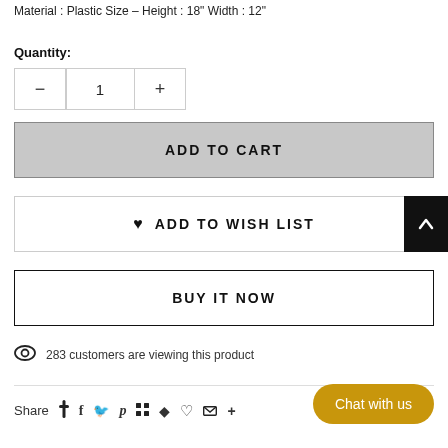Material : Plastic Size – Height : 18" Width : 12"
Quantity:
[Figure (other): Quantity selector with minus, 1, and plus buttons]
ADD TO CART
♥ ADD TO WISH LIST
BUY IT NOW
283 customers are viewing this product
Share
Chat with us